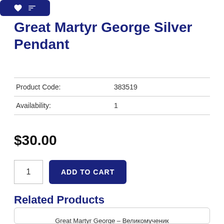[Figure (other): Dark blue button bar with heart and filter icons]
Great Martyr George Silver Pendant
| Product Code: | 383519 |
| Availability: | 1 |
$30.00
1  ADD TO CART
Related Products
[Figure (illustration): Icon painting of Great Martyr George on horseback slaying the dragon, framed with green border]
Great Martyr George – Великомученик